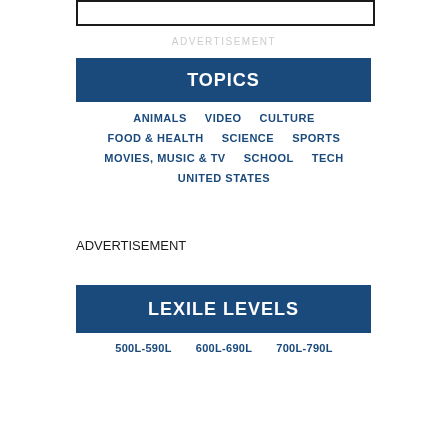[Figure (other): Empty white rounded rectangle box at top of page]
ADVERTISEMENT
TOPICS
ANIMALS   VIDEO   CULTURE
FOOD & HEALTH   SCIENCE   SPORTS
MOVIES, MUSIC & TV   SCHOOL   TECH
UNITED STATES
ADVERTISEMENT
LEXILE LEVELS
500L-590L   600L-690L   700L-790L